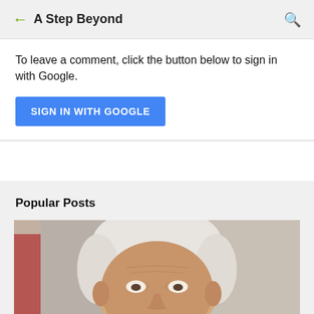A Step Beyond
To leave a comment, click the button below to sign in with Google.
SIGN IN WITH GOOGLE
Popular Posts
[Figure (photo): Close-up photo of an elderly man with white/grey hair, partially cropped at the bottom of the page. Background shows beige/grey tones.]